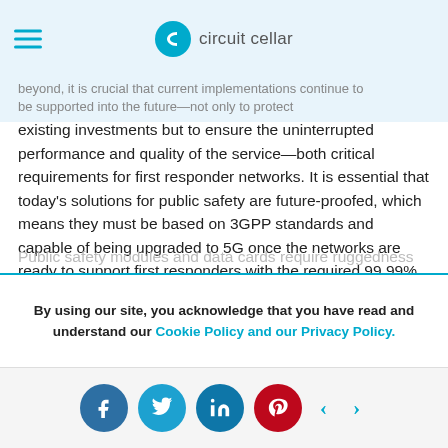circuit cellar
beyond, it is crucial that current implementations continue to be supported into the future—not only to protect existing investments but to ensure the uninterrupted performance and quality of the service—both critical requirements for first responder networks. It is essential that today's solutions for public safety are future-proofed, which means they must be based on 3GPP standards and capable of being upgraded to 5G once the networks are ready to support first responders with the required 99.99% service availability. IoT modules and data cards need to be mission-critical grade too—capable of operating across a range of environments and temperatures from -40°C to +85°C, and manufactured for high shock and vibration environments.
Public safety modules and data cards require ruggedness
By using our site, you acknowledge that you have read and understand our Cookie Policy and our Privacy Policy.